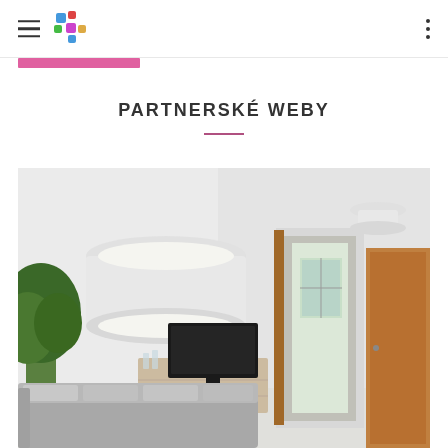Navigation header with hamburger menu, logo, and dots menu
PARTNERSKÉ WEBY
[Figure (photo): Interior room photo showing a modern living room with a white drum ceiling lamp, TV on a wooden dresser, green plants, gray sofa with cushions, a hallway with wooden doors, and another ceiling light fixture]